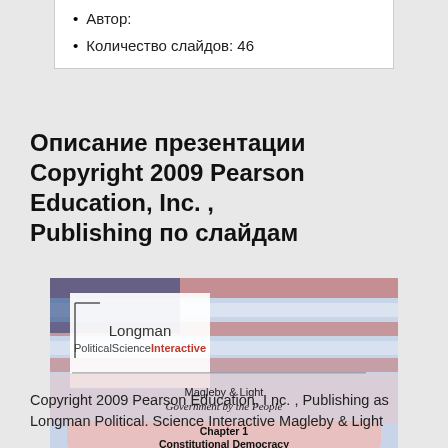Автор:
Количество слайдов: 46
Описание презентации Copyright 2009 Pearson Education, Inc. , Publishing по слайдам
[Figure (screenshot): Longman PoliticalScienceInteractive slide cover showing Magleby & Light Government by the People, Chapter 1 Constitutional Democracy, with American flag background.]
Copyright 2009 Pearson Education, Inc. , Publishing as Longman Political. Science Interactive Magleby & Light